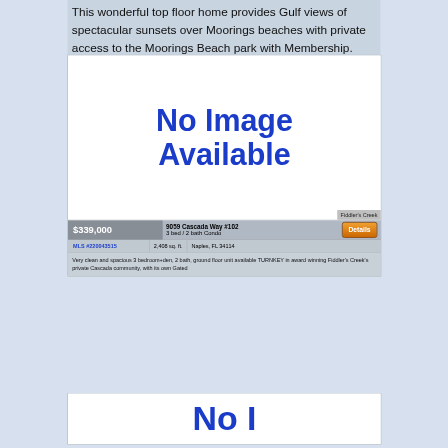This wonderful top floor home provides Gulf views of spectacular sunsets over Moorings beaches with private access to the Moorings Beach park with Membership. With a
[Figure (illustration): No Image Available placeholder image for a real estate listing. White background with bold blue text reading 'No Image Available'. A 'Fiddler's Creek' label appears in the bottom-right corner.]
| Price | Address |  |
| --- | --- | --- |
| $339,000 | 9059 Cascada Way #102
3 bed / 2 bath Condo | Details |
| MLS #220043515 | 2,408 sq. ft. | Naples, FL 34114 |
Very clean and spacious 3 bedroom+den, 2 bath, ground floor unit available TURNKEY in award winning Fiddler's Creek's private Cascada community, with its own Gated
[Figure (illustration): Partial view of a second 'No Image Available' placeholder at the bottom of the page.]